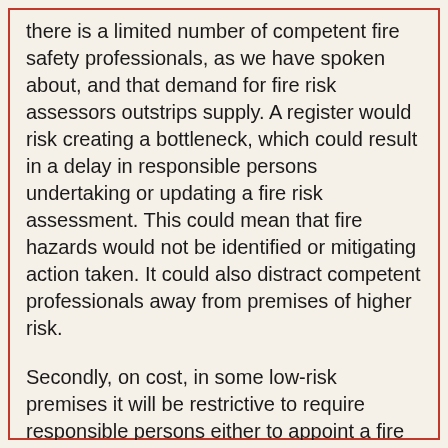there is a limited number of competent fire safety professionals, as we have spoken about, and that demand for fire risk assessors outstrips supply. A register would risk creating a bottleneck, which could result in a delay in responsible persons undertaking or updating a fire risk assessment. This could mean that fire hazards would not be identified or mitigating action taken. It could also distract competent professionals away from premises of higher risk.
Secondly, on cost, in some low-risk premises it will be restrictive to require responsible persons either to appoint a fire risk assessor from the register or to ensure that they themselves are on the register. It could mean that fire safety outcomes are reduced, where they could meet the responsibility of the